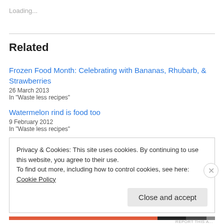Loading...
Related
Frozen Food Month: Celebrating with Bananas, Rhubarb, & Strawberries
26 March 2013
In "Waste less recipes"
Watermelon rind is food too
9 February 2012
In "Waste less recipes"
Privacy & Cookies: This site uses cookies. By continuing to use this website, you agree to their use.
To find out more, including how to control cookies, see here: Cookie Policy